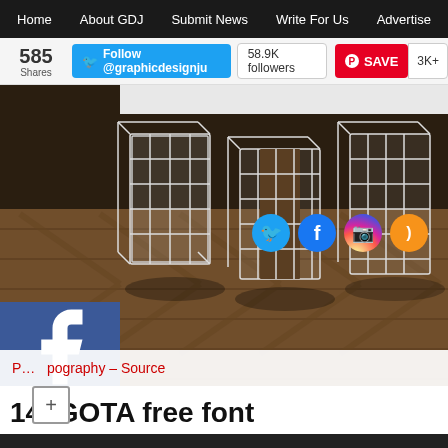Home  About GDJ  Submit News  Write For Us  Advertise
585 Shares  Follow @graphicdesignju  58.9K followers  SAVE  3K+
[Figure (photo): 3D lattice/wireframe letters spelling 'GOSTA' or similar on a herringbone wooden floor, with social media icons (Twitter, Facebook, Instagram, RSS) overlaid. Left side shows Facebook, Twitter, LinkedIn, and Pinterest share buttons.]
P... pography – Source
14. GOTA free font